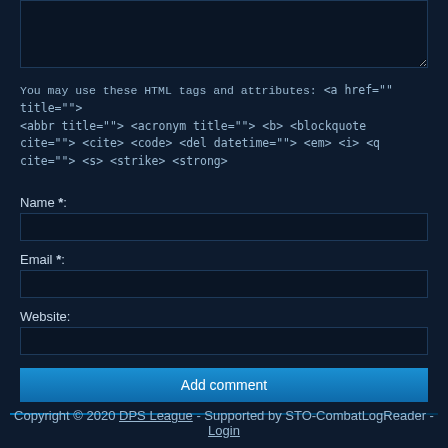You may use these HTML tags and attributes: <a href="" title=""> <abbr title=""> <acronym title=""> <b> <blockquote cite=""> <cite> <code> <del datetime=""> <em> <i> <q cite=""> <s> <strike> <strong>
Name *:
Email *:
Website:
Add comment
Copyright © 2020 DPS League - Supported by STO-CombatLogReader - Login